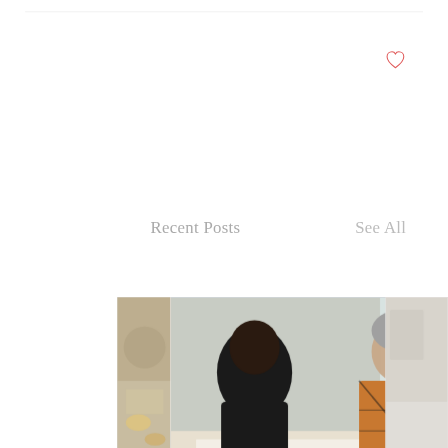Recent Posts
See All
[Figure (photo): Family gathered around a table sharing a meal with various foods and drinks, including a father with a child on his lap, a young girl eating, and children seated around the table]
Navigating Family Feeding